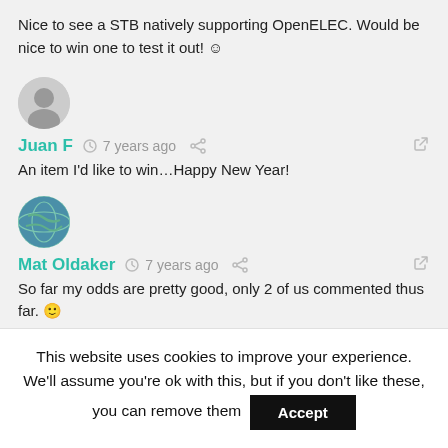Nice to see a STB natively supporting OpenELEC. Would be nice to win one to test it out! ☺
Juan F  🕐 7 years ago
An item I'd like to win…Happy New Year!
Mat Oldaker  🕐 7 years ago
So far my odds are pretty good, only 2 of us commented thus far. 🙂
This website uses cookies to improve your experience. We'll assume you're ok with this, but if you don't like these, you can remove them  Accept